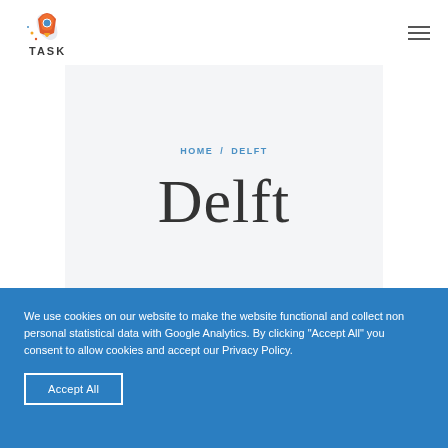[Figure (logo): TASK rocket logo with colorful rocket and stars above the text TASK]
[Figure (other): Hamburger menu icon (three horizontal lines)]
HOME / DELFT
Delft
We use cookies on our website to make the website functional and collect non personal statistical data with Google Analytics. By clicking “Accept All” you consent to allow cookies and accept our Privacy Policy.
Accept All